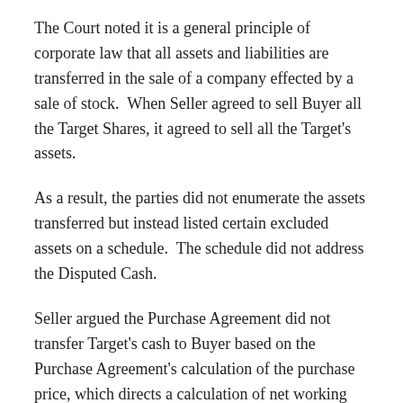The Court noted it is a general principle of corporate law that all assets and liabilities are transferred in the sale of a company effected by a sale of stock.  When Seller agreed to sell Buyer all the Target Shares, it agreed to sell all the Target's assets.
As a result, the parties did not enumerate the assets transferred but instead listed certain excluded assets on a schedule.  The schedule did not address the Disputed Cash.
Seller argued the Purchase Agreement did not transfer Target's cash to Buyer based on the Purchase Agreement's calculation of the purchase price, which directs a calculation of net working capital that excluded cash.  Seller